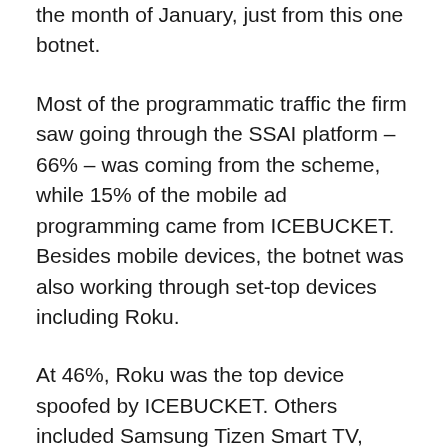the month of January, just from this one botnet.
Most of the programmatic traffic the firm saw going through the SSAI platform – 66% – was coming from the scheme, while 15% of the mobile ad programming came from ICEBUCKET. Besides mobile devices, the botnet was also working through set-top devices including Roku.
At 46%, Roku was the top device spoofed by ICEBUCKET. Others included Samsung Tizen Smart TV, Google TV (which Google discontinued in 2014) and Android. Roku, for one, confirmed that the impressions were spoofed. After White Ops informed the company about the scheme, Roku checked its internal systems and found that it wasn't showing any ICEBUCKET activity at all on its platform.